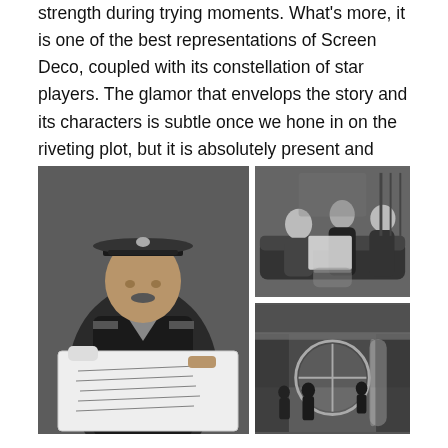strength during trying moments. What's more, it is one of the best representations of Screen Deco, coupled with its constellation of star players. The glamor that envelops the story and its characters is subtle once we hone in on the riveting plot, but it is absolutely present and beautiful.
[Figure (photo): Black and white photo of a hotel doorman/bellhop in uniform and cap, leaning forward holding open a large book showing celebrity signatures.]
[Figure (photo): Black and white photo of three men in suits sitting on a couch in an Art Deco hotel lobby, looking at papers together and laughing.]
[Figure (photo): Black and white photo of the exterior revolving door entrance of a grand hotel lobby with people entering.]